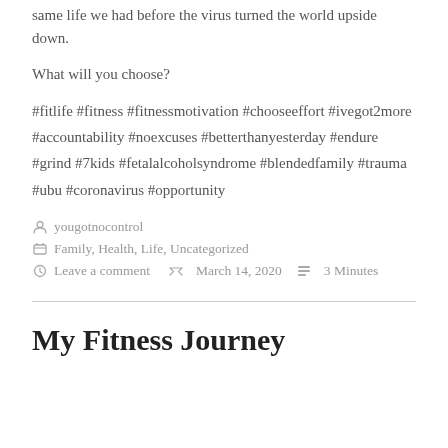same life we had before the virus turned the world upside down.
What will you choose?
#fitlife #fitness #fitnessmotivation #chooseeffort #ivegot2more #accountability #noexcuses #betterthanyesterday #endure #grind #7kids #fetalalcoholsyndrome #blendedfamily #trauma #ubu #coronavirus #opportunity
yougotnocontrol
Family, Health, Life, Uncategorized
Leave a comment   March 14, 2020   3 Minutes
My Fitness Journey